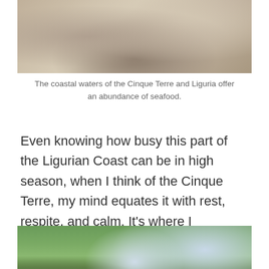[Figure (photo): Top portion of a photo showing seafood dish on a plate, coastal/seafood theme, partially cropped at top]
The coastal waters of the Cinque Terre and Liguria offer an abundance of seafood.
Even knowing how busy this part of the Ligurian Coast can be in high season, when I think of the Cinque Terre, my mind equates it with rest, respite, and calm. It’s where I recharge. It’s where I can get away to find myself again. It’s where I can take a deep breath of salty sea air and feel revived.
[Figure (photo): Bottom portion of a photo showing the Cinque Terre coastline with green hillsides, stone structures, and blue sea, partially cropped at bottom]